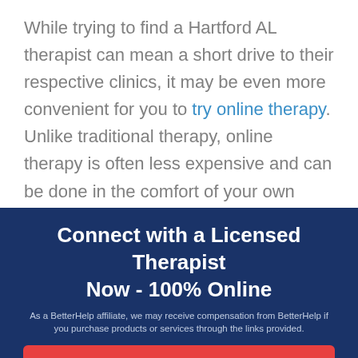While trying to find a Hartford AL therapist can mean a short drive to their respective clinics, it may be even more convenient for you to try online therapy. Unlike traditional therapy, online therapy is often less expensive and can be done in the comfort of your own home using your laptop or phone.

Another great benefit of using online therapy
Connect with a Licensed Therapist Now - 100% Online
As a BetterHelp affiliate, we may receive compensation from BetterHelp if you purchase products or services through the links provided.
Get Help Now